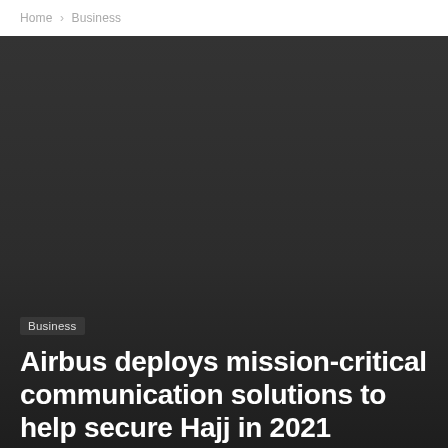Home › Business
[Figure (photo): Dark-toned hero image area with dark gradient background]
Business
Airbus deploys mission-critical communication solutions to help secure Hajj in 2021